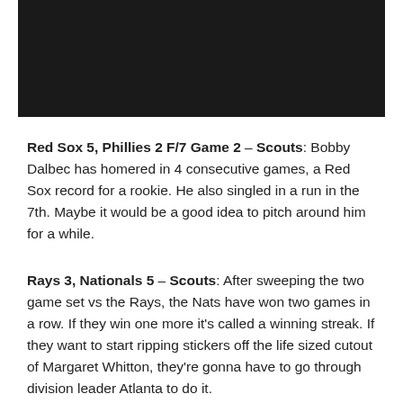[Figure (photo): Black rectangular image at the top of the page]
Red Sox 5, Phillies 2 F/7 Game 2 – Scouts: Bobby Dalbec has homered in 4 consecutive games, a Red Sox record for a rookie. He also singled in a run in the 7th. Maybe it would be a good idea to pitch around him for a while.
Rays 3, Nationals 5 – Scouts: After sweeping the two game set vs the Rays, the Nats have won two games in a row. If they win one more it's called a winning streak. If they want to start ripping stickers off the life sized cutout of Margaret Whitton, they're gonna have to go through division leader Atlanta to do it.